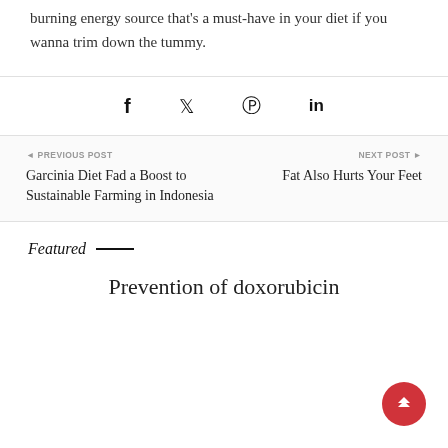burning energy source that's a must-have in your diet if you wanna trim down the tummy.
Social sharing icons: Facebook, Twitter, Pinterest, LinkedIn
◄ PREVIOUS POST
Garcinia Diet Fad a Boost to Sustainable Farming in Indonesia
NEXT POST ►
Fat Also Hurts Your Feet
Featured
Prevention of doxorubicin